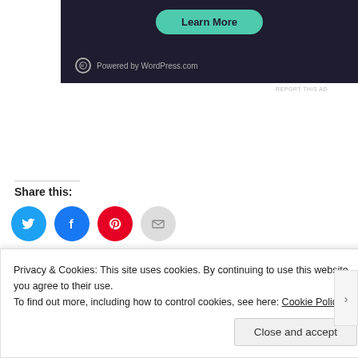[Figure (screenshot): WordPress.com ad banner with 'Learn More' teal button and 'Powered by WordPress.com' logo on dark background]
REPORT THIS AD
Share this:
[Figure (infographic): Social sharing icons: Twitter (blue), Facebook (blue), Pinterest (red), Email (grey)]
[Figure (photo): Row of thumbnail images]
Privacy & Cookies: This site uses cookies. By continuing to use this website, you agree to their use.
To find out more, including how to control cookies, see here: Cookie Policy
Close and accept